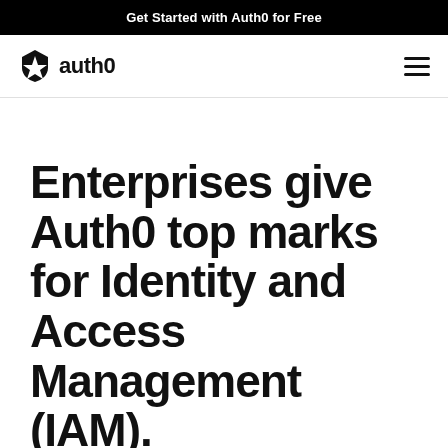Get Started with Auth0 for Free
[Figure (logo): Auth0 logo with shield icon and 'auth0' wordmark, plus hamburger menu icon]
Enterprises give Auth0 top marks for Identity and Access Management (IAM).